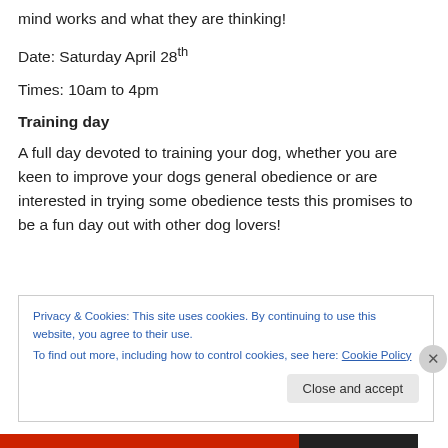mind works and what they are thinking!
Date: Saturday April 28th
Times: 10am to 4pm
Training day
A full day devoted to training your dog, whether you are keen to improve your dogs general obedience or are interested in trying some obedience tests this promises to be a fun day out with other dog lovers!
Privacy & Cookies: This site uses cookies. By continuing to use this website, you agree to their use. To find out more, including how to control cookies, see here: Cookie Policy